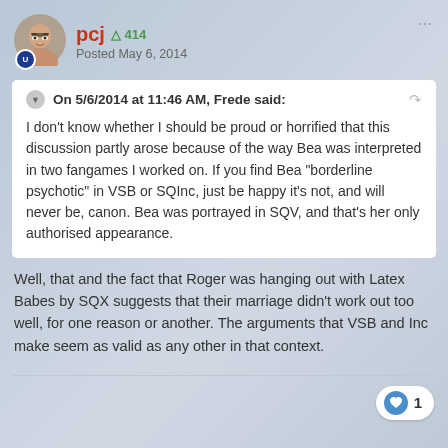pcj  +414  Posted May 6, 2014
On 5/6/2014 at 11:46 AM, Frede said:

I don't know whether I should be proud or horrified that this discussion partly arose because of the way Bea was interpreted in two fangames I worked on. If you find Bea "borderline psychotic" in VSB or SQInc, just be happy it's not, and will never be, canon. Bea was portrayed in SQV, and that's her only authorised appearance.
Well, that and the fact that Roger was hanging out with Latex Babes by SQX suggests that their marriage didn't work out too well, for one reason or another. The arguments that VSB and Inc make seem as valid as any other in that context.